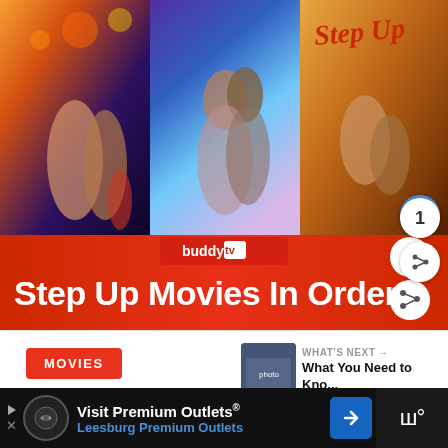[Figure (photo): A composite image showing three Step Up movie posters side by side (Step Up All In, another Step Up film, and the original Step Up), overlaid with a BuddyTV logo and a large red banner reading 'Step Up Movies In Order']
Step Up Movies In Order
WHAT'S NEXT → What You Need to Kno...
MOVIES
Visit Premium Outlets® Leesburg Premium Outlets